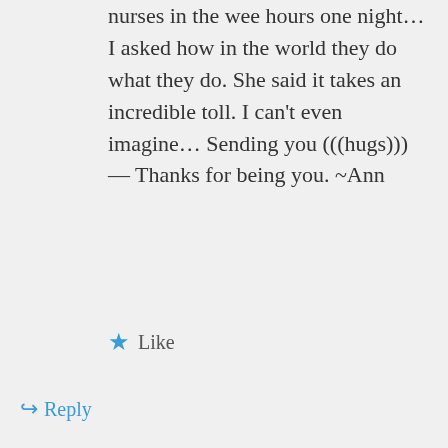nurses in the wee hours one night… I asked how in the world they do what they do. She said it takes an incredible toll. I can't even imagine… Sending you (((hugs))) — Thanks for being you. ~Ann
★ Like
↪ Reply
Jenn Mitchell on September 14, 2013 at 9:33 pm
Thanks so much Ann. Your reply means a lot to me. I am sad that I can't do the actual caregiving right now. But I am actively looking for